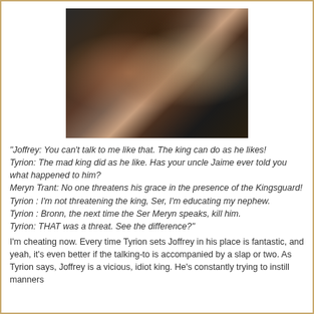[Figure (photo): Blurry dark photo showing two people, one appearing to slap the other, motion blur visible, dark background]
"Joffrey: You can't talk to me like that. The king can do as he likes!
Tyrion: The mad king did as he like. Has your uncle Jaime ever told you what happened to him?
Meryn Trant: No one threatens his grace in the presence of the Kingsguard!
Tyrion : I'm not threatening the king, Ser, I'm educating my nephew.
Tyrion : Bronn, the next time the Ser Meryn speaks, kill him.
Tyrion: THAT was a threat. See the difference?"
I'm cheating now. Every time Tyrion sets Joffrey in his place is fantastic, and yeah, it's even better if the talking-to is accompanied by a slap or two. As Tyrion says, Joffrey is a vicious, idiot king. He's constantly trying to instill manners...